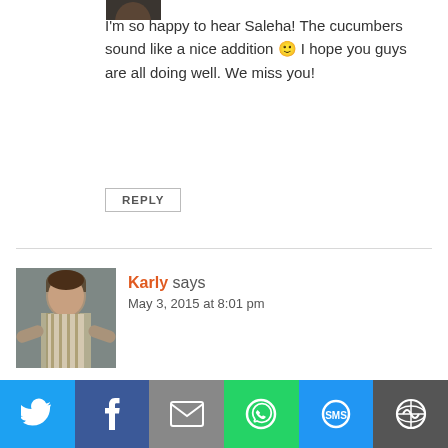[Figure (photo): Small cropped avatar photo at top, partially visible]
I'm so happy to hear Saleha! The cucumbers sound like a nice addition 🙂 I hope you guys are all doing well. We miss you!
REPLY
[Figure (photo): Avatar photo of Karly, a person in a striped shirt]
Karly says
May 3, 2015 at 8:01 pm
Love all of the flavor going on in this salad! Thanks for linking up with What's Cookin'
[Figure (infographic): Social share bar with Twitter, Facebook, Email, WhatsApp, SMS, and Other icons]